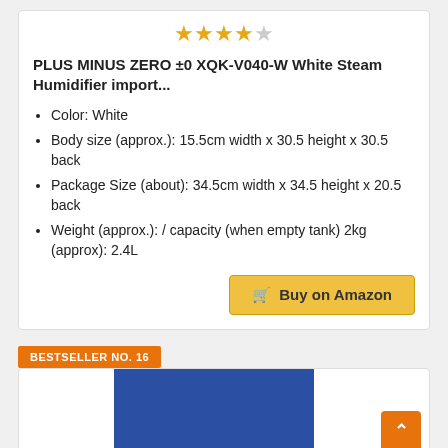[Figure (other): 4 out of 5 star rating shown with filled and empty star icons in gold/gray]
PLUS MINUS ZERO ±0 XQK-V040-W White Steam Humidifier import...
Color: White
Body size (approx.): 15.5cm width x 30.5 height x 30.5 back
Package Size (about): 34.5cm width x 34.5 height x 20.5 back
Weight (approx.): / capacity (when empty tank) 2kg (approx): 2.4L
Buy on Amazon
BESTSELLER NO. 16
[Figure (photo): Blue product image partially visible at the bottom of the page]